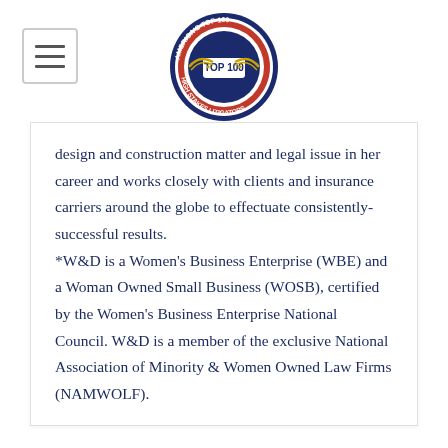[Figure (logo): America's Top 100 High Stakes Litigators – TOP 100 circular badge/logo with eagle wings and red/blue/gold design]
design and construction matter and legal issue in her career and works closely with clients and insurance carriers around the globe to effectuate consistently-successful results.
*W&D is a Women's Business Enterprise (WBE) and a Woman Owned Small Business (WOSB), certified by the Women's Business Enterprise National Council. W&D is a member of the exclusive National Association of Minority & Women Owned Law Firms (NAMWOLF).